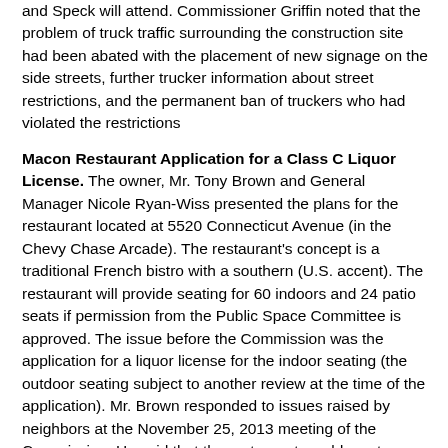and Speck will attend. Commissioner Griffin noted that the problem of truck traffic surrounding the construction site had been abated with the placement of new signage on the side streets, further trucker information about street restrictions, and the permanent ban of truckers who had violated the restrictions
Macon Restaurant Application for a Class C Liquor License. The owner, Mr. Tony Brown and General Manager Nicole Ryan-Wiss presented the plans for the restaurant located at 5520 Connecticut Avenue (in the Chevy Chase Arcade). The restaurant's concept is a traditional French bistro with a southern (U.S. accent). The restaurant will provide seating for 60 indoors and 24 patio seats if permission from the Public Space Committee is approved. The issue before the Commission was the application for a liquor license for the indoor seating (the outdoor seating subject to another review at the time of the application). Mr. Brown responded to issues raised by neighbors at the November 25, 2013 meeting of the Commission. He said that the restaurant would use two existing pads for trash